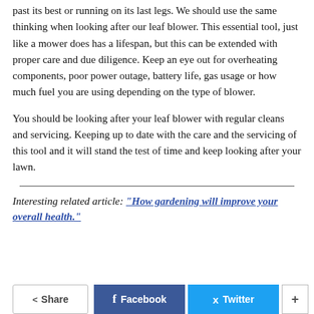past its best or running on its last legs. We should use the same thinking when looking after our leaf blower. This essential tool, just like a mower does has a lifespan, but this can be extended with proper care and due diligence. Keep an eye out for overheating components, poor power outage, battery life, gas usage or how much fuel you are using depending on the type of blower.
You should be looking after your leaf blower with regular cleans and servicing. Keeping up to date with the care and the servicing of this tool and it will stand the test of time and keep looking after your lawn.
Interesting related article: “How gardening will improve your overall health.”